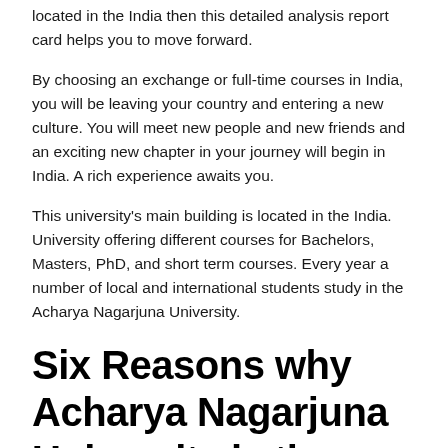located in the India then this detailed analysis report card helps you to move forward.
By choosing an exchange or full-time courses in India, you will be leaving your country and entering a new culture. You will meet new people and new friends and an exciting new chapter in your journey will begin in India. A rich experience awaits you.
This university's main building is located in the India. University offering different courses for Bachelors, Masters, PhD, and short term courses. Every year a number of local and international students study in the Acharya Nagarjuna University.
Six Reasons why Acharya Nagarjuna University is the Best